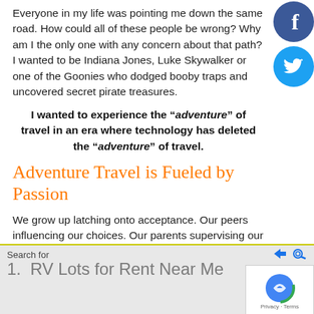Everyone in my life was pointing me down the same road.  How could all of these people be wrong?  Why am I the only one with any concern about that path?  I wanted to be Indiana Jones, Luke Skywalker or one of the Goonies who dodged booby traps and uncovered secret pirate treasures.
I wanted to experience the “adventure” of travel in an era where technology has deleted the “adventure” of travel.
Adventure Travel is Fueled by Passion
We grow up latching onto acceptance.  Our peers influencing our choices.  Our parents supervising our decisions.  Mass media pervasively persuading our
Search for   |   1.  RV Lots for Rent Near Me